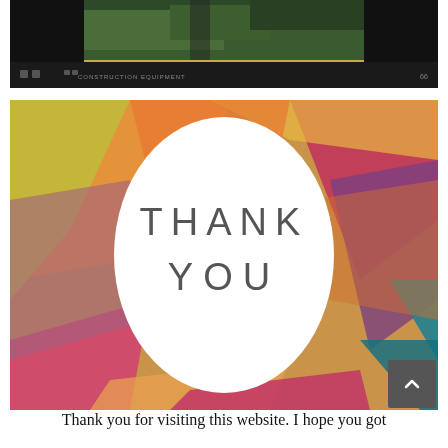[Figure (screenshot): A dark-themed video player or website screenshot showing an aerial/forest scene with text overlay reading 'CONSTRUCTION EQUIPMENT' and a number '66' in the corner. The player has a dark/black background with navigation controls.]
[Figure (illustration): A colorful geometric polygon background image in orange, pink, purple, teal, yellow colors with a large white oval in the center containing the text 'THANK YOU' in light gray spaced capital letters.]
Thank you for visiting this website. I hope you got